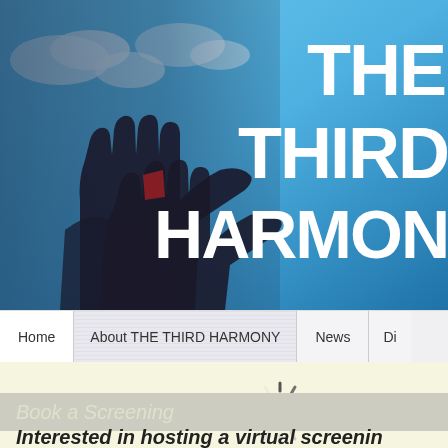[Figure (photo): Hero image with blue sky background showing silhouette of two hands making peace/harmony gestures, with bold white title text 'THE THIRD HARMONY' overlaid on right side]
Home | About THE THIRD HARMONY | News | Di...
[Figure (other): Loading spinner (circular dashed loading indicator)]
Book a Screening
Interested in hosting a virtual screenin...